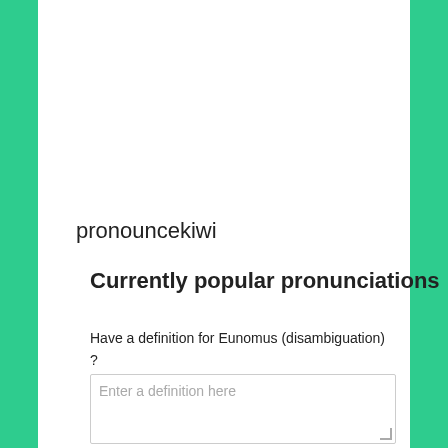pronouncekiwi
Currently popular pronunciations
Have a definition for Eunomus (disambiguation) ? Write it here to share it with the entire community.
Enter a definition here
Add Definition